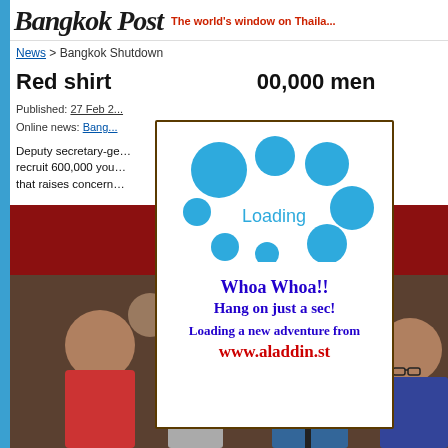Bangkok Post — The world's window on Thailand
News > Bangkok Shutdown
Red shirt calling up 600,000 men
Published: 27 Feb ... Online news: Bang...
Deputy secretary-ge... shirt leader Suporn Attaw... recruit 600,000 you... nt Democracy Protection... that raises concern... descending into civil war...
[Figure (screenshot): Photo of people at a press conference with red banner in background]
[Figure (infographic): Loading overlay dialog with blue bubbles/circles, 'Loading' text, 'Whoa Whoa!! Hang on just a sec! Loading a new adventure from www.aladdin.st']